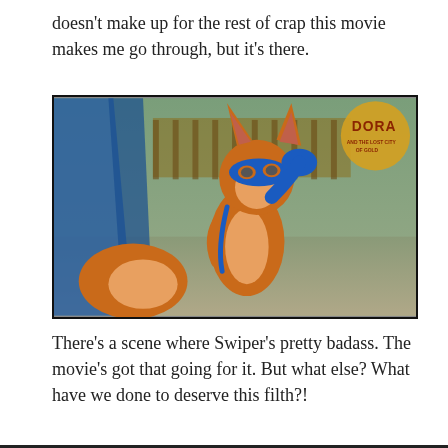doesn't make up for the rest of crap this movie makes me go through, but it's there.
[Figure (photo): A CGI animated fox character (Swiper from Dora the Explorer) wearing a blue mask and holding one hand to his forehead, standing outdoors. A DORA movie logo appears in the upper right corner.]
There's a scene where Swiper's pretty badass. The movie's got that going for it. But what else? What have we done to deserve this filth?!